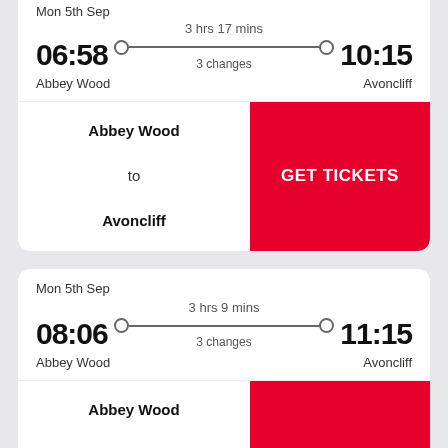Mon 5th Sep
3 hrs 17 mins
06:58
3 changes
10:15
Abbey Wood
Avoncliff
Abbey Wood
to
Avoncliff
GET TICKETS
Mon 5th Sep
3 hrs 9 mins
08:06
3 changes
11:15
Abbey Wood
Avoncliff
Abbey Wood
to
Avoncliff
GET TICKETS